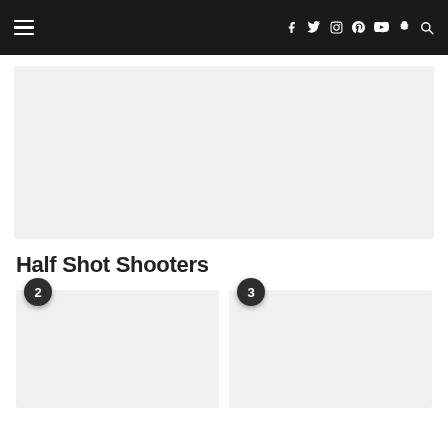Navigation bar with hamburger menu and social icons (f, twitter, instagram, pinterest, youtube, snapchat, search)
[Figure (photo): Large light gray placeholder image area]
Half Shot Shooters
[Figure (photo): Thumbnail image placeholder with badge number 2]
[Figure (photo): Thumbnail image placeholder with badge number 3]